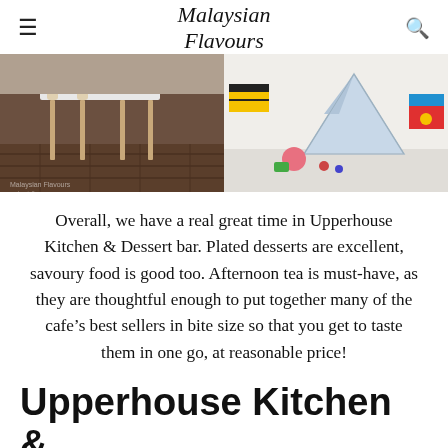Malaysian Flavours
[Figure (photo): Two-panel photo strip: left panel shows restaurant interior with wooden chairs and dark wood floor; right panel shows a children's play area with a tent and toys.]
Overall, we have a real great time in Upperhouse Kitchen & Dessert bar. Plated desserts are excellent, savoury food is good too. Afternoon tea is must-have, as they are thoughtful enough to put together many of the cafe’s best sellers in bite size so that you get to taste them in one go, at reasonable price!
Upperhouse Kitchen & Dessert Bar